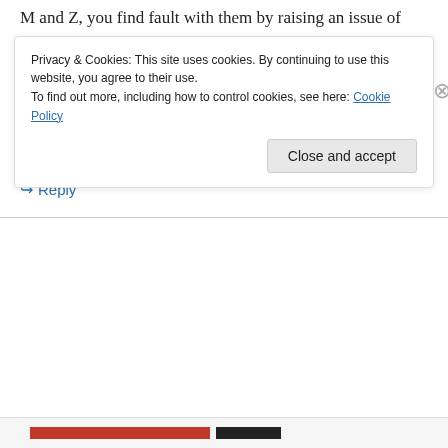M and Z, you find fault with them by raising an issue of magnitudes detail regarding AA and Ed which is moot.
Other details of magnitudes which you raise with regard to radiative transfers are, if I do, in fact, begin to understand M and Z, largely moot.
↳ Reply
Privacy & Cookies: This site uses cookies. By continuing to use this website, you agree to their use. To find out more, including how to control cookies, see here: Cookie Policy
Close and accept